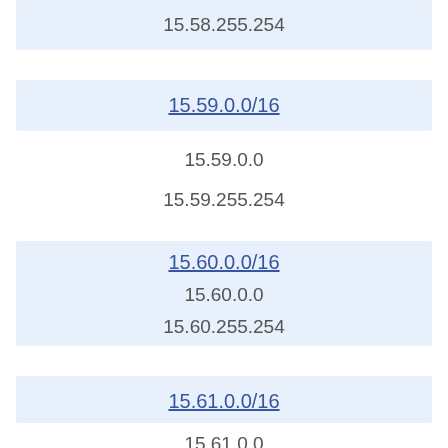15.58.255.254
15.59.0.0/16
15.59.0.0
15.59.255.254
15.60.0.0/16
15.60.0.0
15.60.255.254
15.61.0.0/16
15.61.0.0